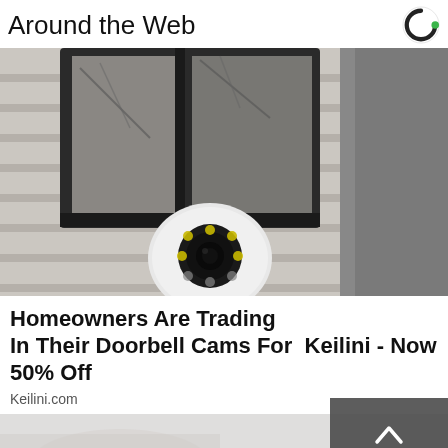Around the Web
[Figure (photo): Outdoor security camera (white dome-style) mounted below a black lantern-style light fixture on a house exterior with grey siding and a grey door in the background]
Homeowners Are Trading In Their Doorbell Cams For  Keilini - Now 50% Off
Keilini.com
[Figure (photo): Partial view of a person's foot/shoe area, white background, bottom portion of page]